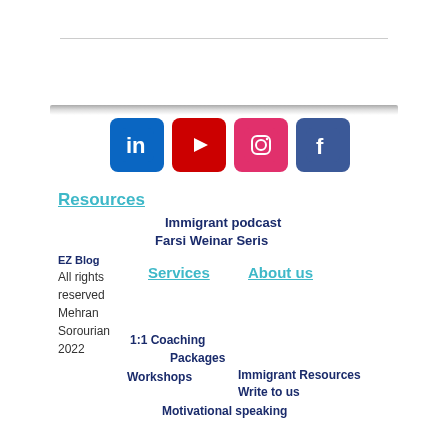[Figure (illustration): Social media icons: LinkedIn (blue), YouTube (red), Instagram (pink/red), Facebook (dark blue), displayed as rounded square icons in a row]
Resources
Immigrant podcast
Farsi Weinar Seris
EZ Blog
Services
About us
All rights reserved Mehran Sorourian 2022
1:1 Coaching
Packages
Workshops
Immigrant Resources
Write to us
Motivational speaking